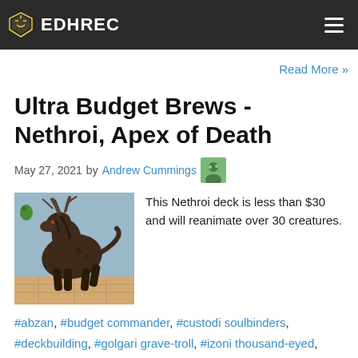EDHREC
Read More »
Ultra Budget Brews - Nethroi, Apex of Death
May 27, 2021 by Andrew Cummings
[Figure (illustration): Fantasy creature illustration - a large dark beast with horns/antlers, resembling Nethroi from Magic: The Gathering]
This Nethroi deck is less than $30 and will reanimate over 30 creatures.
#abzan, #budget commander, #custodi soulbinders, #deckbuilding, #golgari grave-troll, #izoni thousand-eyed, #kalonian hydra, #nethroi apex of death, #polukranos unchained, #realm seekers, #reanimator,